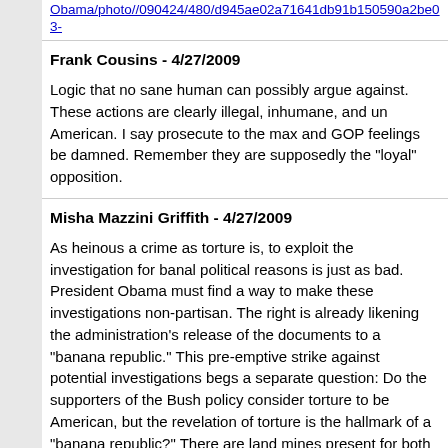Obama/photo//090424/480/d945ae02a71641db91b150590a2be03-
Frank Cousins - 4/27/2009
Logic that no sane human can possibly argue against. These actions are clearly illegal, inhumane, and un American. I say prosecute to the max and GOP feelings be damned. Remember they are supposedly the "loyal" opposition.
Misha Mazzini Griffith - 4/27/2009
As heinous a crime as torture is, to exploit the investigation for banal political reasons is just as bad. President Obama must find a way to make these investigations non-partisan. The right is already likening the administration's release of the documents to a "banana republic." This pre-emptive strike against potential investigations begs a separate question: Do the supporters of the Bush policy consider torture to be American, but the revelation of torture is the hallmark of a "banana republic?" There are land mines present for both parties in this issue. The Left runs the risk of creating a permanent state of persecution of the past administrations, the Right runs the risk of looking like the pro-